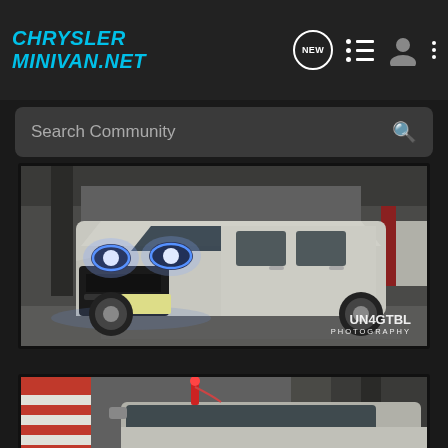CHRYSLER MINIVAN.NET
Search Community
[Figure (photo): Silver Dodge Grand Caravan minivan photographed at night in a parking garage with bright LED headlights on. Watermark reads UN4GTBL PHOTOGRAPHY.]
[Figure (photo): Partial view of a silver minivan photographed from the front/side in a parking garage, showing the roofline and side mirror. A red item is visible on the roof.]